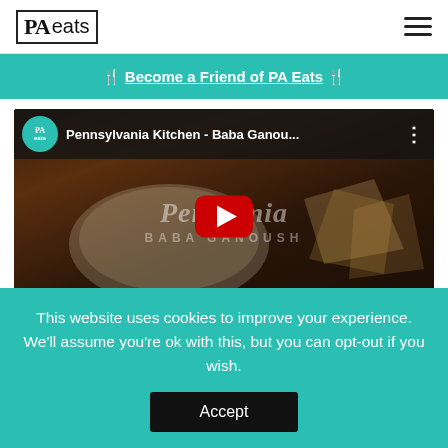PA eats [hamburger menu]
🍴 Become a Friend of PA Eats 🍴
[Figure (screenshot): YouTube video thumbnail for Pennsylvania Kitchen - Baba Ganou... showing a plate of baba ganoush with pita bread on a wooden surface, with a red YouTube play button in the center and PA Eats logo in the top left corner of the video player.]
This website uses cookies to improve your experience. We'll assume you're ok with this, but you can opt-out if you wish.
Accept